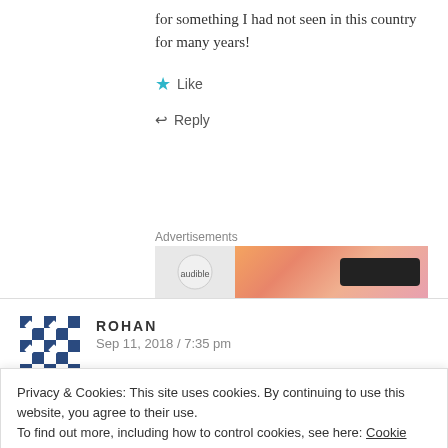for something I had not seen in this country for many years!
★ Like
↩ Reply
Advertisements
[Figure (other): Advertisement banner with Audible logo on left and orange-pink gradient with dark button on right]
ROHAN
Sep 11, 2018 / 7:35 pm
Privacy & Cookies: This site uses cookies. By continuing to use this website, you agree to their use.
To find out more, including how to control cookies, see here: Cookie Policy
Close and accept
carefully crafted media persona and despise the way he